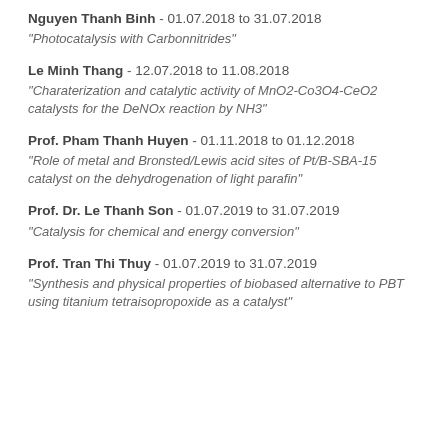Nguyen Thanh Binh - 01.07.2018 to 31.07.2018
"Photocatalysis with Carbonnitrides"
Le Minh Thang - 12.07.2018 to 11.08.2018
"Charaterization and catalytic activity of MnO2-Co3O4-CeO2 catalysts for the DeNOx reaction by NH3"
Prof. Pham Thanh Huyen - 01.11.2018 to 01.12.2018
"Role of metal and Bronsted/Lewis acid sites of Pt/B-SBA-15 catalyst on the dehydrogenation of light parafin"
Prof. Dr. Le Thanh Son - 01.07.2019 to 31.07.2019
"Catalysis for chemical and energy conversion"
Prof. Tran Thi Thuy - 01.07.2019 to 31.07.2019
"Synthesis and physical properties of biobased alternative to PBT using titanium tetraisopropoxide as a catalyst"